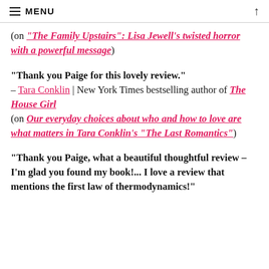MENU
(on “The Family Upstairs”: Lisa Jewell’s twisted horror with a powerful message)
“Thank you Paige for this lovely review.” – Tara Conklin | New York Times bestselling author of The House Girl (on Our everyday choices about who and how to love are what matters in Tara Conklin’s “The Last Romantics”)
“Thank you Paige, what a beautiful thoughtful review – I’m glad you found my book!... I love a review that mentions the first law of thermodynamics!”